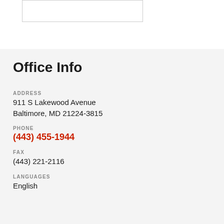[Figure (other): White rectangular box with border at top of page]
Office Info
ADDRESS
911 S Lakewood Avenue
Baltimore, MD 21224-3815
PHONE
(443) 455-1944
FAX
(443) 221-2116
LANGUAGES
English